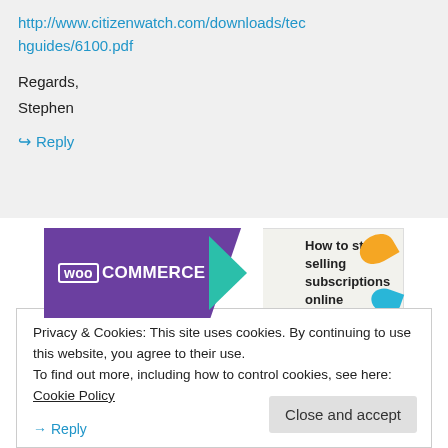http://www.citizenwatch.com/downloads/techguides/6100.pdf
Regards,
Stephen
↪ Reply
[Figure (other): WooCommerce advertisement banner: How to start selling subscriptions online]
REPORT THIS AD
Privacy & Cookies: This site uses cookies. By continuing to use this website, you agree to their use.
To find out more, including how to control cookies, see here: Cookie Policy
Close and accept
→ Reply